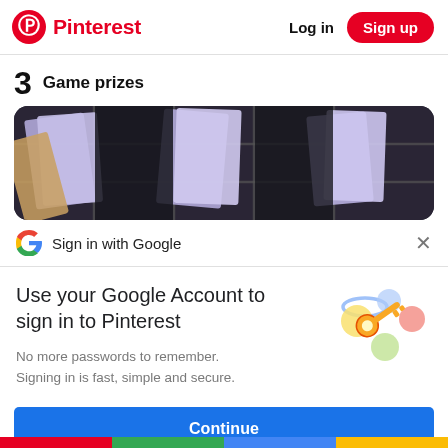Pinterest | Log in | Sign up
3  Game prizes
[Figure (photo): Blurred photo of purple/lavender envelopes or cards behind a dark grid/fence background]
Sign in with Google
Use your Google Account to sign in to Pinterest
No more passwords to remember. Signing in is fast, simple and secure.
[Figure (illustration): Google key illustration with colorful circles (blue, green, yellow, red) and a golden key]
Continue